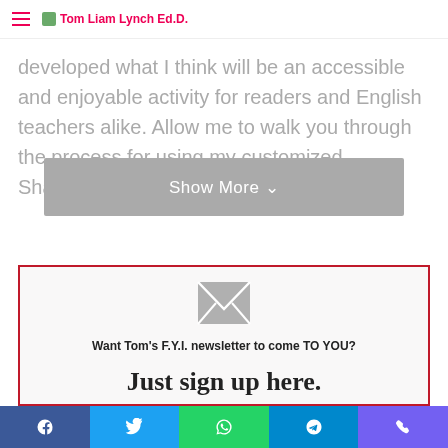Tom Liam Lynch Ed.D.
developed what I think will be an accessible and enjoyable activity for readers and English teachers alike. Allow me to walk you through the process for using my customized Shakespearean spreadsheets
Show More
[Figure (illustration): Envelope/mail icon in grey]
Want Tom's F.Y.I. newsletter to come TO YOU?
Just sign up here.
Facebook | Twitter | WhatsApp | Telegram | Viber